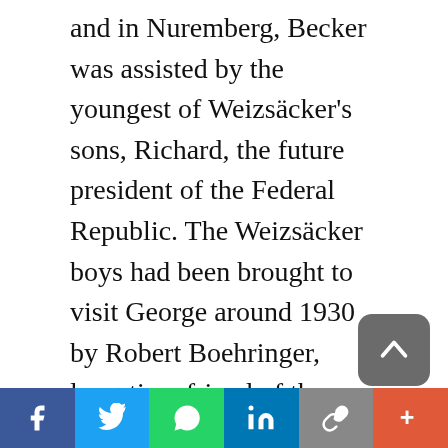and in Nuremberg, Becker was assisted by the youngest of Weizsäcker's sons, Richard, the future president of the Federal Republic. The Weizsäcker boys had been brought to visit George around 1930 by Robert Boehringer, long-time friend of the family. During the trial, Edgar Salin and his former student Marion Gräfin Dönhoff, East Prussian aristocrat, founding editor of the renowned weekly Die Zeit and monument of democratic journalism in the Federal Republic, contributed a widely resonating press campaign based on B...